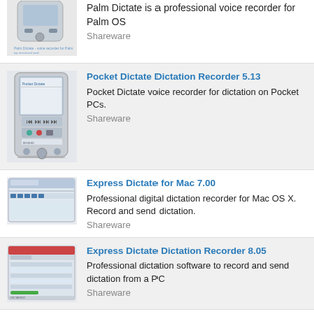[Figure (screenshot): Palm OS device screenshot thumbnail]
Palm Dictate is a professional voice recorder for Palm OS
Shareware
[Figure (screenshot): Pocket PC device screenshot thumbnail]
Pocket Dictate Dictation Recorder 5.13
Pocket Dictate voice recorder for dictation on Pocket PCs.
Shareware
[Figure (screenshot): Mac application screenshot thumbnail]
Express Dictate for Mac 7.00
Professional digital dictation recorder for Mac OS X. Record and send dictation.
Shareware
[Figure (screenshot): Express Dictate PC application screenshot thumbnail]
Express Dictate Dictation Recorder 8.05
Professional dictation software to record and send dictation from a PC
Shareware
[Figure (screenshot): Express Dictate software screenshot thumbnail]
Express Dictate Dictation Recorder Software 5.41